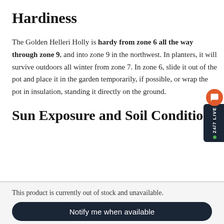Hardiness
The Golden Helleri Holly is hardy from zone 6 all the way through zone 9, and into zone 9 in the northwest. In planters, it will survive outdoors all winter from zone 7. In zone 6, slide it out of the pot and place it in the garden temporarily, if possible, or wrap the pot in insulation, standing it directly on the ground.
Sun Exposure and Soil Conditions
This product is currently out of stock and unavailable.
Notify me when available